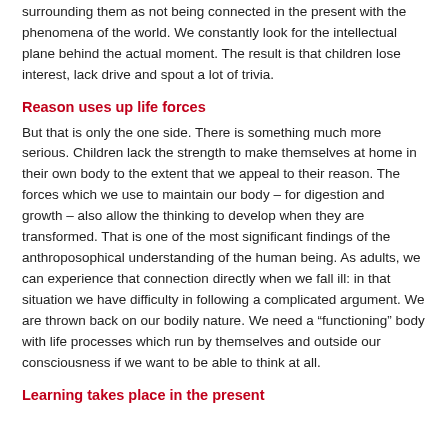surrounding them as not being connected in the present with the phenomena of the world. We constantly look for the intellectual plane behind the actual moment. The result is that children lose interest, lack drive and spout a lot of trivia.
Reason uses up life forces
But that is only the one side. There is something much more serious. Children lack the strength to make themselves at home in their own body to the extent that we appeal to their reason. The forces which we use to maintain our body – for digestion and growth – also allow the thinking to develop when they are transformed. That is one of the most significant findings of the anthroposophical understanding of the human being. As adults, we can experience that connection directly when we fall ill: in that situation we have difficulty in following a complicated argument. We are thrown back on our bodily nature. We need a “functioning” body with life processes which run by themselves and outside our consciousness if we want to be able to think at all.
Learning takes place in the present